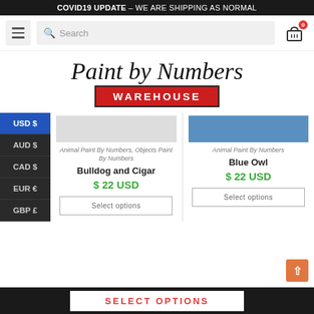COVID19 UPDATE – WE ARE SHIPPING AS NORMAL
[Figure (screenshot): Navigation bar with hamburger menu, search box, and shopping cart icon with badge showing 0]
[Figure (logo): Paint by Numbers Warehouse logo — cursive script 'Paint by Numbers' above red block 'WAREHOUSE']
[Figure (screenshot): Partial product images at top of two product cards]
Animal Paint By Numbers, Objects Paint By Numbers
Bulldog and Cigar
$ 22 USD
Select options
Animal Paint By Numbers
Blue Owl
$ 22 USD
Select options
SELECT OPTIONS